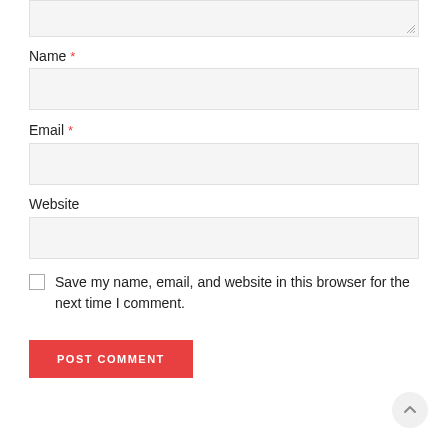[Figure (screenshot): Top of a comment form showing a textarea with resize handle at bottom-right, partially visible at top of page]
Name *
[Figure (screenshot): Empty text input field for Name]
Email *
[Figure (screenshot): Empty text input field for Email]
Website
[Figure (screenshot): Empty text input field for Website]
Save my name, email, and website in this browser for the next time I comment.
POST COMMENT